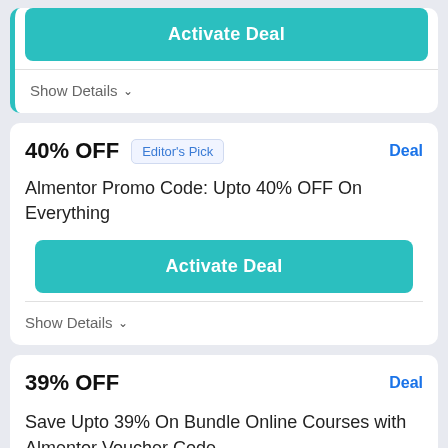Activate Deal
Show Details
40% OFF
Editor's Pick
Deal
Almentor Promo Code: Upto 40% OFF On Everything
Activate Deal
Show Details
39% OFF
Deal
Save Upto 39% On Bundle Online Courses with Almentor Voucher Code